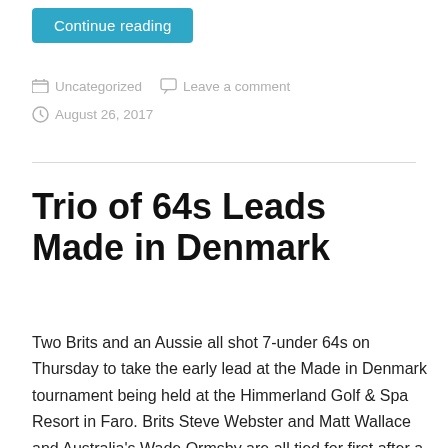Continue reading
Uncategorized   Leave a comment
August 26, 2017
Trio of 64s Leads Made in Denmark
Two Brits and an Aussie all shot 7-under 64s on Thursday to take the early lead at the Made in Denmark tournament being held at the Himmerland Golf & Spa Resort in Faro. Brits Steve Webster and Matt Wallace and Australia's Wade Ormsby are all tied for first after a